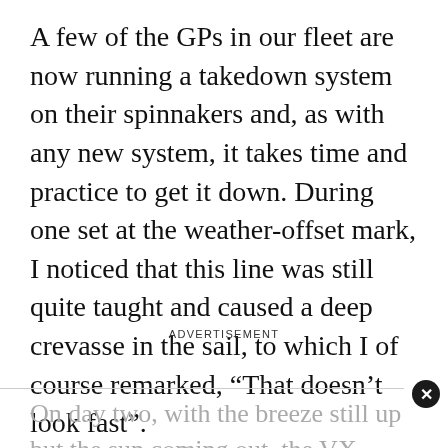A few of the GPs in our fleet are now running a takedown system on their spinnakers and, as with any new system, it takes time and practice to get it down. During one set at the weather-offset mark, I noticed that this line was still quite taught and caused a deep crevasse in the sail, to which I of course remarked, “That doesn’t look fast”.
ADVERTISEMENT
On day two, with the breeze still up but the sun coming out, the VX-Ones joined